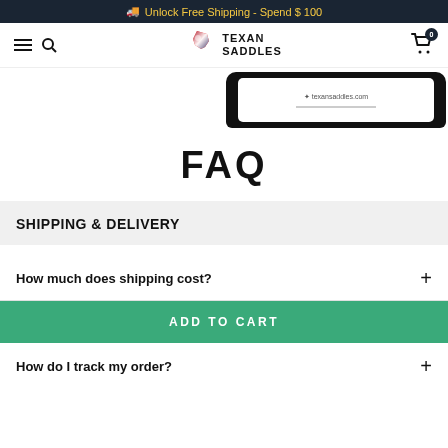🚚 Unlock Free Shipping - Spend $ 100
[Figure (screenshot): Navigation bar with hamburger menu, search icon, Texan Saddles logo with Texas state icon, and shopping cart with badge showing 0]
[Figure (screenshot): Partial product image showing bottom edge of a phone/laptop mockup displaying texansaddles.com]
FAQ
SHIPPING & DELIVERY
How much does shipping cost?
ADD TO CART
How do I track my order?